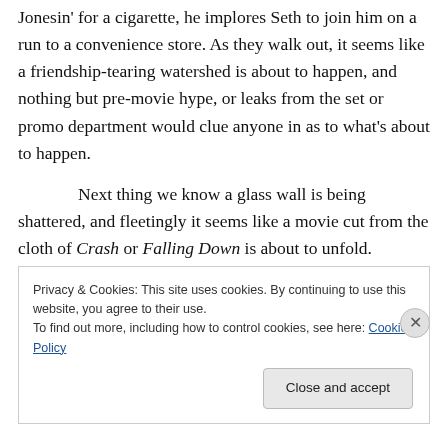Jonesin' for a cigarette, he implores Seth to join him on a run to a convenience store. As they walk out, it seems like a friendship-tearing watershed is about to happen, and nothing but pre-movie hype, or leaks from the set or promo department would clue anyone in as to what's about to happen.
Next thing we know a glass wall is being shattered, and fleetingly it seems like a movie cut from the cloth of Crash or Falling Down is about to unfold. Moments later, as a series of blue light beams spear down from above
Privacy & Cookies: This site uses cookies. By continuing to use this website, you agree to their use.
To find out more, including how to control cookies, see here: Cookie Policy
Close and accept